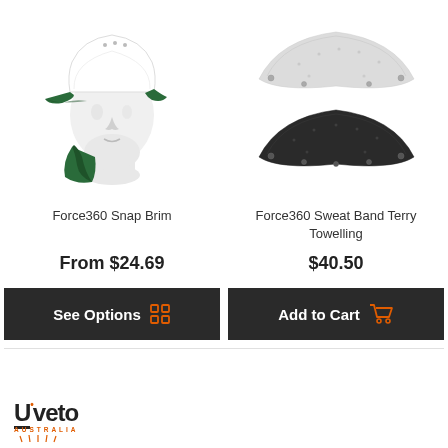[Figure (photo): White safety helmet/cap with green snap brim and neck flap, worn on a mannequin head, side profile view]
[Figure (photo): Two sweat band terry towelling pieces: one white/light grey on top and one black on bottom, both curved in shape]
Force360 Snap Brim
Force360 Sweat Band Terry Towelling
From $24.69
$40.50
See Options
Add to Cart
[Figure (logo): Uveto Australia logo with orange dot on U and orange sun rays below text]